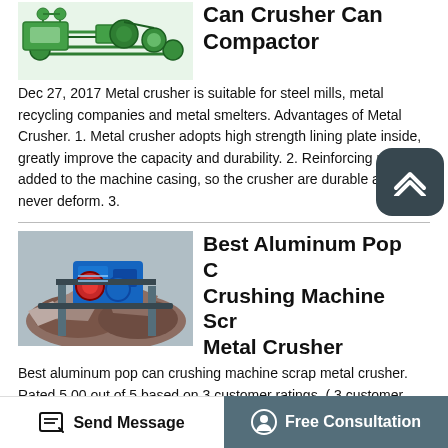[Figure (schematic): Industrial can crusher / can compactor machinery schematic diagram showing green mechanical equipment components and conveyors]
Can Crusher Can Compactor
Dec 27, 2017 Metal crusher is suitable for steel mills, metal recycling companies and metal smelters. Advantages of Metal Crusher. 1. Metal crusher adopts high strength lining plate inside, greatly improve the capacity and durability. 2. Reinforcing ribs are added to the machine casing, so the crusher are durable and never deform. 3.
[Figure (photo): Photograph of aluminum pop can crushing machine / scrap metal crusher with blue industrial machinery and rocky/ore material]
Best Aluminum Pop Can Crushing Machine Scrap Metal Crusher
Best aluminum pop can crushing machine scrap metal crusher. Rated 5.00 out of 5 based on 3 customer ratings. ( 3 customer reviews) $5,000.00 $4,200.00. Power 22KW-300KW. Model Number 600,800,1000,1300,1500,1800. Lead Time Quantity (Sets) 1 – 20 20. Est. Time (days) 30 Negotiable. Best aluminum pop can crushing machine scrap
Send Message   Free Consultation